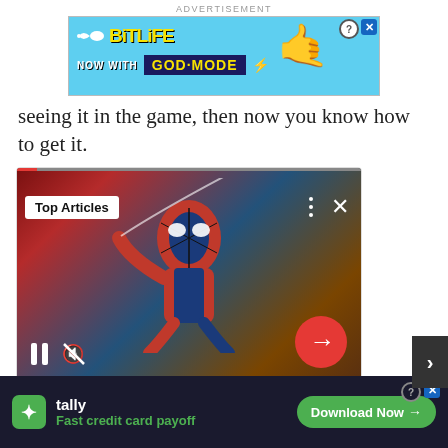ADVERTISEMENT
[Figure (screenshot): BitLife advertisement banner - 'NOW WITH GOD MODE' on blue background with hand pointing]
seeing it in the game, then now you know how to get it.
[Figure (screenshot): Embedded video player showing Spider-Man Remastered with Top Articles badge, pause/mute controls, red arrow button. Caption: Spider-Man Remastered Gets Steam Update! - Gameranx]
Spider-Man Remastered Gets Steam Update! - Gameranx
ADVERTISEMENT
[Figure (screenshot): Search bar with 'Search for' placeholder and blue arrow icon]
[Figure (screenshot): Tally advertisement banner - 'Fast credit card payoff' with Download Now button on dark background]